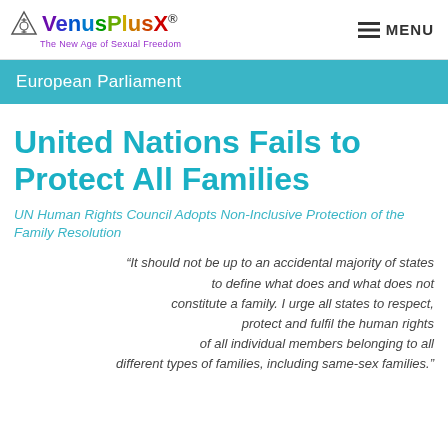VenusPlusX® The New Age of Sexual Freedom | MENU
European Parliament
United Nations Fails to Protect All Families
UN Human Rights Council Adopts Non-Inclusive Protection of the Family Resolution
“It should not be up to an accidental majority of states to define what does and what does not constitute a family. I urge all states to respect, protect and fulfil the human rights of all individual members belonging to all different types of families, including same-sex families.”